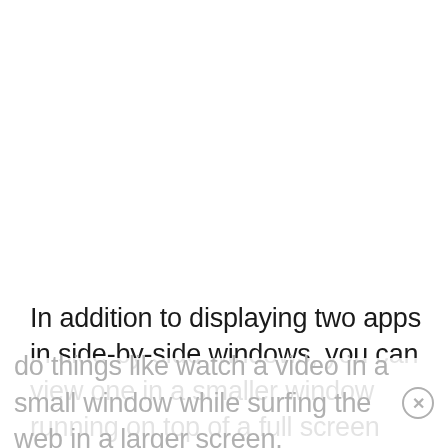In addition to displaying two apps in side-by-side windows, you can view one in a smaller window running on top of a full screen app. This lets you do things like watch a video in a small window while surfing the web in a larger screen.